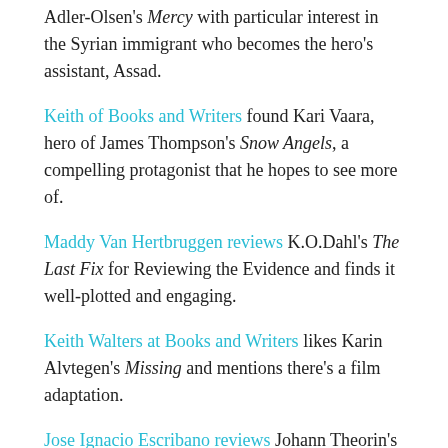Adler-Olsen's Mercy with particular interest in the Syrian immigrant who becomes the hero's assistant, Assad.
Keith of Books and Writers found Kari Vaara, hero of James Thompson's Snow Angels, a compelling protagonist that he hopes to see more of.
Maddy Van Hertbruggen reviews K.O.Dahl's The Last Fix for Reviewing the Evidence and finds it well-plotted and engaging.
Keith Walters at Books and Writers likes Karin Alvtegen's Missing and mentions there's a film adaptation.
Jose Ignacio Escribano reviews Johann Theorin's Echoes from the Dead – bilingually!